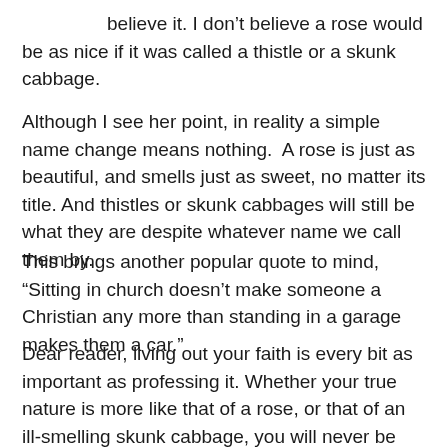believe it. I don't believe a rose would be as nice if it was called a thistle or a skunk cabbage.
Although I see her point, in reality a simple name change means nothing.  A rose is just as beautiful, and smells just as sweet, no matter its title. And thistles or skunk cabbages will still be what they are despite whatever name we call them by.
This brings another popular quote to mind, “Sitting in church doesn’t make someone a Christian any more than standing in a garage makes them a car.”
Dear reader, living out your faith is every bit as important as professing it. Whether your true nature is more like that of a rose, or that of an ill-smelling skunk cabbage, you will never be able to fool anyone; at least not for long. And you